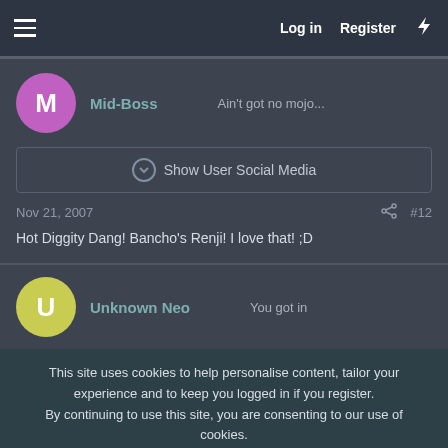Log in  Register
Mid-Boss  Ain't got no mojo...
Show User Social Media
Nov 21, 2007  #12
Hot Diggity Dang! Bancho's Renji! I love that! ;D
Unknown Neo  You got in
This site uses cookies to help personalise content, tailor your experience and to keep you logged in if you register.
By continuing to use this site, you are consenting to our use of cookies.
Accept  Learn more...